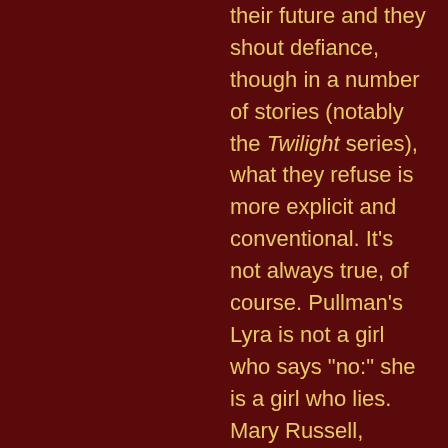their future and they shout defiance, though in a number of stories (notably the Twilight series), what they refuse is more explicit and conventional. It’s not always true, of course. Pullman’s Lyra is not a girl who says “no:” she is a girl who lies. Mary Russell, consort of Laurie King’s aging Sherlock, considers comment on such matters as personal fate unseemly, unnecessary, and perhaps undignified. But, yes, Valente has a point: a lot of